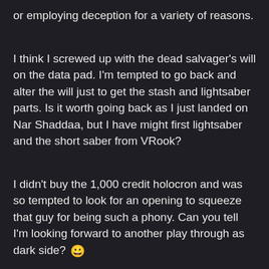or employing deception for a variety of reasons.
I think I screwed up with the dead salvager's will on the data pad. I'm tempted to go back and alter the will just to get the stash and lightsaber parts. Is it worth going back as I just landed on Nar Shaddaa, but I have might first lightsaber and the short saber from VRook?
I didn't buy the 1,000 credit holocron and was so tempted to look for an opening to squeeze that guy for being such a phony. Can you tell I'm looking forward to another play through as dark side? 😀